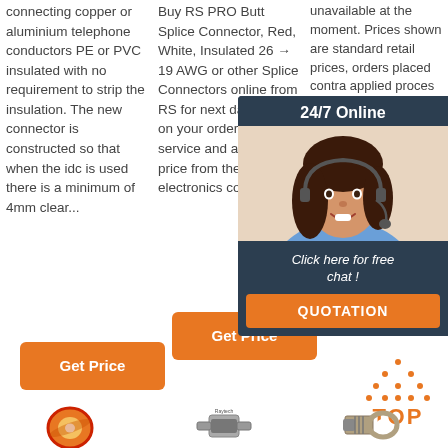connecting copper or aluminium telephone conductors PE or PVC insulated with no requirement to strip the insulation. The new connector is constructed so that when the idc is used there is a minimum of 4mm clear...
Buy RS PRO Butt Splice Connector, Red, White, Insulated 26 → 19 AWG or other Splice Connectors online from RS for next day delivery on your order plus great service and a great price from the largest electronics components
unavailable at the moment. Prices shown are standard retail prices, orders placed contra applied proces Please valid q the hig quantit
[Figure (infographic): 24/7 Online chat popup with customer service representative photo, 'Click here for free chat!' text, and orange QUOTATION button]
Get Price
Get Price
Get
[Figure (infographic): TOP button with orange dotted triangle/arrow icon and orange TOP text]
[Figure (photo): Bottom row showing three product images: orange/red tape reel, Raytech connector component, and metal crimp terminal]
Raytech